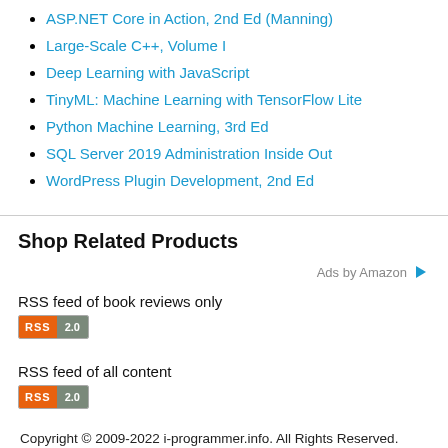ASP.NET Core in Action, 2nd Ed (Manning)
Large-Scale C++, Volume I
Deep Learning with JavaScript
TinyML: Machine Learning with TensorFlow Lite
Python Machine Learning, 3rd Ed
SQL Server 2019 Administration Inside Out
WordPress Plugin Development, 2nd Ed
Shop Related Products
Ads by Amazon
RSS feed of book reviews only
[Figure (logo): RSS 2.0 badge for book reviews feed]
RSS feed of all content
[Figure (logo): RSS 2.0 badge for all content feed]
Copyright © 2009-2022 i-programmer.info. All Rights Reserved.